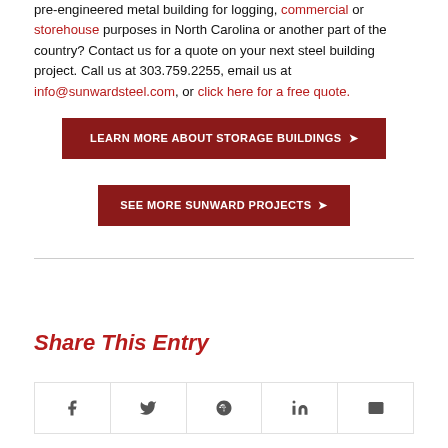pre-engineered metal building for logging, commercial or storehouse purposes in North Carolina or another part of the country? Contact us for a quote on your next steel building project. Call us at 303.759.2255, email us at info@sunwardsteel.com, or click here for a free quote.
LEARN MORE ABOUT STORAGE BUILDINGS ➤
SEE MORE SUNWARD PROJECTS ➤
Share This Entry